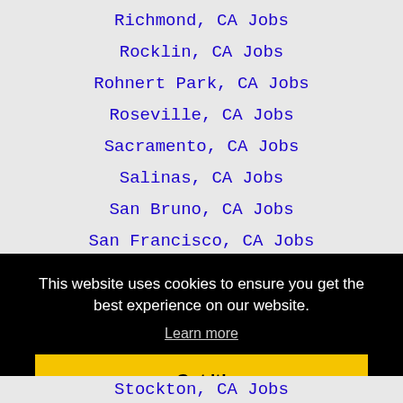Richmond, CA Jobs
Rocklin, CA Jobs
Rohnert Park, CA Jobs
Roseville, CA Jobs
Sacramento, CA Jobs
Salinas, CA Jobs
San Bruno, CA Jobs
San Francisco, CA Jobs
San Jose, CA Jobs
This website uses cookies to ensure you get the best experience on our website.
Learn more
Got it!
Stockton, CA Jobs